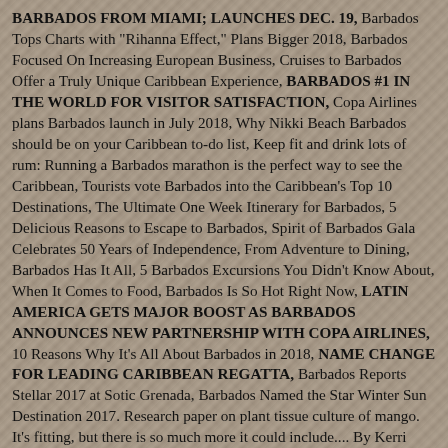BARBADOS FROM MIAMI; LAUNCHES DEC. 19, Barbados Tops Charts with "Rihanna Effect," Plans Bigger 2018, Barbados Focused On Increasing European Business, Cruises to Barbados Offer a Truly Unique Caribbean Experience, BARBADOS #1 IN THE WORLD FOR VISITOR SATISFACTION, Copa Airlines plans Barbados launch in July 2018, Why Nikki Beach Barbados should be on your Caribbean to-do list, Keep fit and drink lots of rum: Running a Barbados marathon is the perfect way to see the Caribbean, Tourists vote Barbados into the Caribbean's Top 10 Destinations, The Ultimate One Week Itinerary for Barbados, 5 Delicious Reasons to Escape to Barbados, Spirit of Barbados Gala Celebrates 50 Years of Independence, From Adventure to Dining, Barbados Has It All, 5 Barbados Excursions You Didn't Know About, When It Comes to Food, Barbados Is So Hot Right Now, LATIN AMERICA GETS MAJOR BOOST AS BARBADOS ANNOUNCES NEW PARTNERSHIP WITH COPA AIRLINES, 10 Reasons Why It's All About Barbados in 2018, NAME CHANGE FOR LEADING CARIBBEAN REGATTA, Barbados Reports Stellar 2017 at Sotic Grenada, Barbados Named the Star Winter Sun Destination 2017. Research paper on plant tissue culture of mango. It's fitting, but there is so much more it could include.... By Kerri Gooding Millions of travellers had voted and according to Trip Advisor, Barbados is a favourite with persons. (The women have requested that we not let those younger than 18 contact them because of past rude behavior by younger men.)